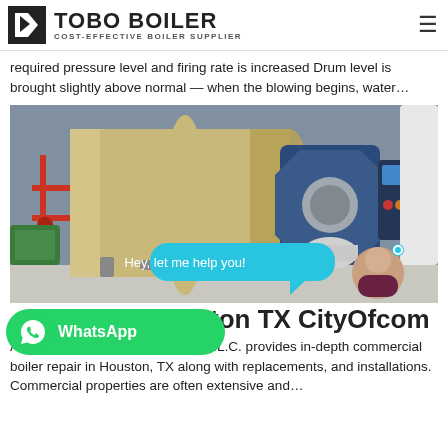TOBO BOILER — COST-EFFECTIVE BOILER SUPPLIER
required pressure level and firing rate is increased Drum level is brought slightly above normal — when the blowing begins, water…
[Figure (photo): Industrial fire-tube or water-tube boiler in a facility. Large tan cylindrical vessel with blue combustion burner assembly attached to the front, mounted on a concrete floor with red and yellow pipework visible. A chat bubble overlay reads 'Hey, let me help you!' with an avatar of an Asian woman.]
[Figure (logo): WhatsApp green button with WhatsApp icon and text 'WhatsApp']
ton TX CityOfcom
Advantage Mechanical Services L.L.C. provides in-depth commercial boiler repair in Houston, TX along with replacements, and installations. Commercial properties are often extensive and…